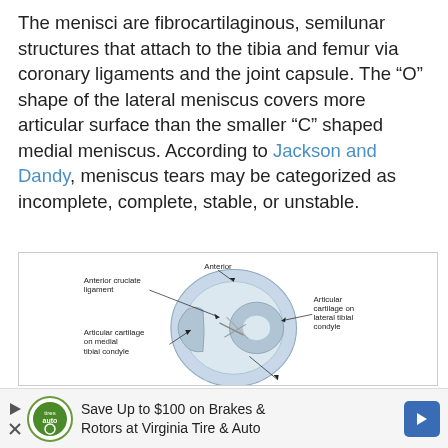The menisci are fibrocartilaginous, semilunar structures that attach to the tibia and femur via coronary ligaments and the joint capsule. The “O” shape of the lateral meniscus covers more articular surface than the smaller “C” shaped medial meniscus. According to Jackson and Dandy, meniscus tears may be categorized as incomplete, complete, stable, or unstable.
[Figure (illustration): Anatomical illustration of the knee joint viewed from above, showing the tibial plateau with labeled structures: Anterior cruciate ligament (top left), Anterior (top center), Articular cartilage on lateral tibial condyle (right), Articular cartilage on medial tibial condyle (left). The menisci, articular cartilages, and cruciate ligaments are depicted in a round cross-sectional view.]
Save Up to $100 on Brakes & Rotors at Virginia Tire & Auto